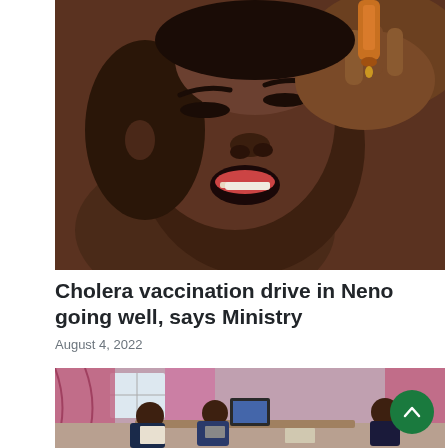[Figure (photo): Close-up photo of a child receiving oral drops (cholera vaccination) being administered by a healthcare worker's hands holding a small bottle]
Cholera vaccination drive in Neno going well, says Ministry
August 4, 2022
[Figure (photo): Office scene with people seated around a desk, pink curtains in the background, appears to be a meeting or interview setting]